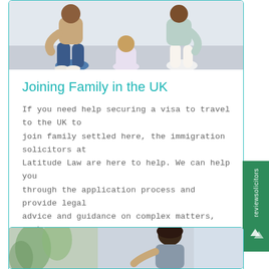[Figure (photo): Family photo — adults and children sitting together on a wooden floor against a light wall]
Joining Family in the UK
If you need help securing a visa to travel to the UK to join family settled here, the immigration solicitors at Latitude Law are here to help. We can help you through the application process and provide legal advice and guidance on complex matters, such as appeals.
Read more
[Figure (photo): Partial photo at bottom of page — woman and greenery visible, bottom card cropped]